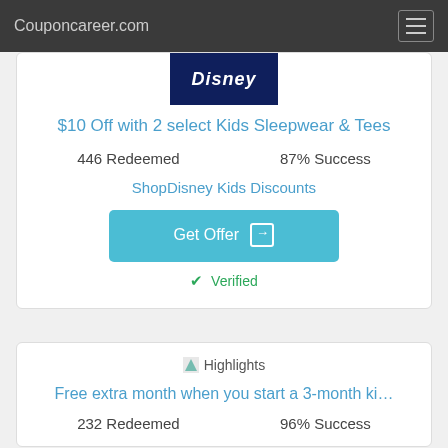Couponcareer.com
[Figure (logo): ShopDisney logo on dark navy background]
$10 Off with 2 select Kids Sleepwear & Tees
446 Redeemed   87% Success
ShopDisney Kids Discounts
Get Offer
✔ Verified
[Figure (illustration): Highlights icon (small image)]
Highlights
Free extra month when you start a 3-month ki…
232 Redeemed   96% Success